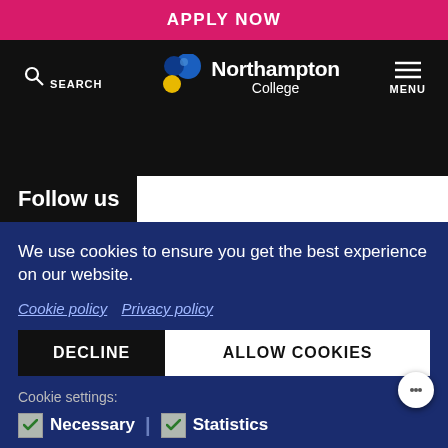APPLY NOW
[Figure (logo): Northampton College logo with search and menu navigation bar]
Follow us
We use cookies to ensure you get the best experience on our website.
Cookie policy  Privacy policy
DECLINE  ALLOW COOKIES
Cookie settings:
Necessary | Statistics
IN PEOPLE | matrix | SCROLL TO TOP